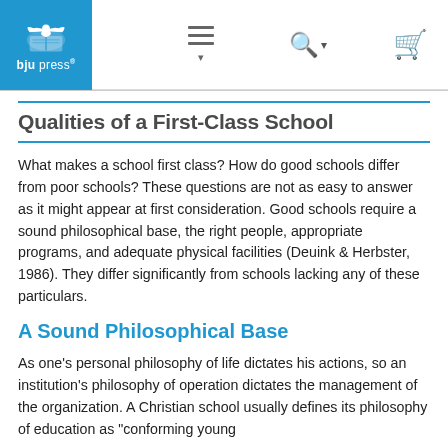BJU Press navigation bar with logo, menu, search, and cart icons
Qualities of a First-Class School
What makes a school first class? How do good schools differ from poor schools? These questions are not as easy to answer as it might appear at first consideration. Good schools require a sound philosophical base, the right people, appropriate programs, and adequate physical facilities (Deuink & Herbster, 1986). They differ significantly from schools lacking any of these particulars.
A Sound Philosophical Base
As one's personal philosophy of life dictates his actions, so an institution's philosophy of operation dictates the management of the organization. A Christian school usually defines its philosophy of education as "conforming young